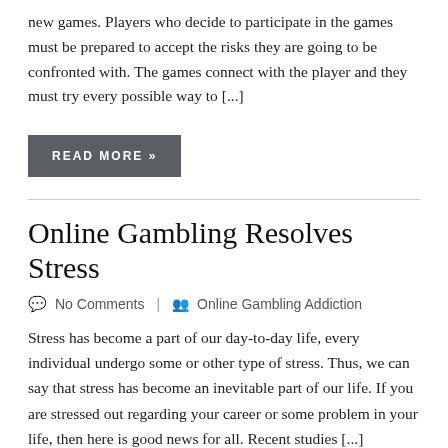new games. Players who decide to participate in the games must be prepared to accept the risks they are going to be confronted with. The games connect with the player and they must try every possible way to [...]
READ MORE »
Online Gambling Resolves Stress
No Comments | Online Gambling Addiction
Stress has become a part of our day-to-day life, every individual undergo some or other type of stress. Thus, we can say that stress has become an inevitable part of our life. If you are stressed out regarding your career or some problem in your life, then here is good news for all. Recent studies [...]